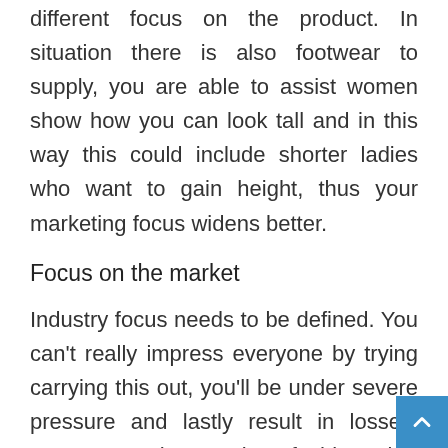different focus on the product. In situation there is also footwear to supply, you are able to assist women show how you can look tall and in this way this could include shorter ladies who want to gain height, thus your marketing focus widens better.
Focus on the market
Industry focus needs to be defined. You can't really impress everyone by trying carrying this out, you'll be under severe pressure and lastly result in losses. Focus on the market fashion, but decide first in situation your focus is to apply man or lady and without fail consider age factor. By focusing in the marketplace you will